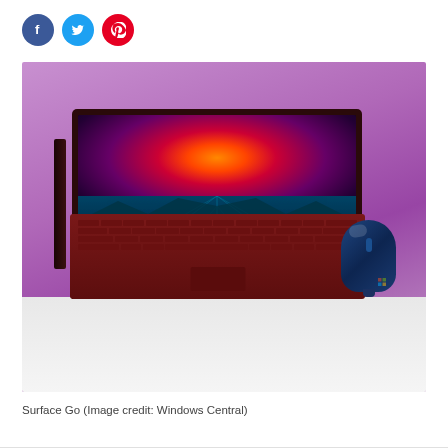[Figure (other): Social media sharing icons: Facebook (blue circle), Twitter (light blue circle), Pinterest (red circle)]
[Figure (photo): Microsoft Surface Go tablet with burgundy/dark red Type Cover keyboard and a dark blue wireless mouse, displayed against a purple/pink gradient background. The tablet screen shows a retro-style wallpaper with an orange/red sun and teal grid landscape.]
Surface Go (Image credit: Windows Central)